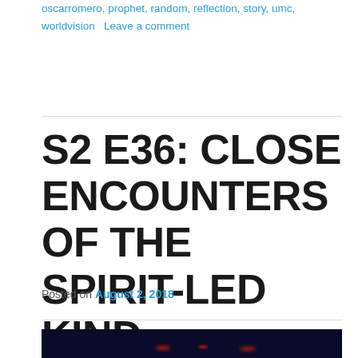oscarromero, prophet, random, reflection, story, umc, worldvision   Leave a comment
S2 E36: CLOSE ENCOUNTERS OF THE SPIRIT-LED KIND
Posted on August 2, 2018
[Figure (photo): Dark nighttime scene with small red glowing lights near the bottom, against a very dark navy/black background]